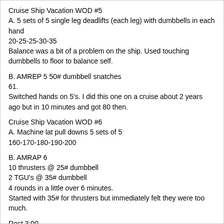Cruise Ship Vacation WOD #5
A. 5 sets of 5 single leg deadlifts (each leg) with dumbbells in each hand
20-25-25-30-35
Balance was a bit of a problem on the ship. Used touching dumbbells to floor to balance self.
B. AMREP 5 50# dumbbell snatches
61.
Switched hands on 5's. I did this one on a cruise about 2 years ago but in 10 minutes and got 80 then.
Cruise Ship Vacation WOD #6
A. Machine lat pull downs 5 sets of 5
160-170-180-190-200
B. AMRAP 6
10 thrusters @ 25# dumbbell
2 TGU's @ 35# dumbbell
4 rounds in a little over 6 minutes.
Started with 35# for thrusters but immediately felt they were too much.
Rest 3:00
C. AMRAP 6
20 double unders
4 burpees
4 rounds in a little over 6 minutes.
Double unders went to total hell on the rocking ship so I ended up